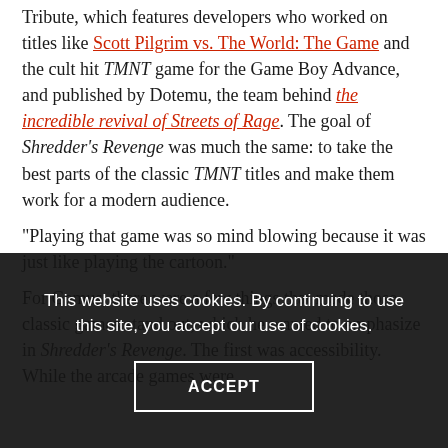Tribute, which features developers who worked on titles like Scott Pilgrim vs. The World: The Game and the cult hit TMNT game for the Game Boy Advance, and published by Dotemu, the team behind the incredible revival of Streets of Rage. The goal of Shredder's Revenge was much the same: to take the best parts of the classic TMNT titles and make them work for a modern audience.
“Playing that game was so mind blowing because it was just like playing the cartoon.”
For Gemus, there were a few things that made those classic games stand out, which he wanted to emphasize in Shredder’s Revenge. The first was accessibility. While the arcade games were
This website uses cookies. By continuing to use this site, you accept our use of cookies.